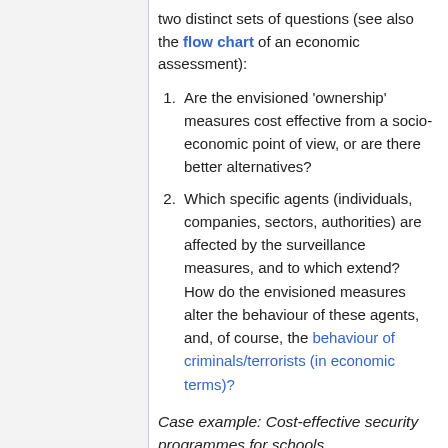two distinct sets of questions (see also the flow chart of an economic assessment):
Are the envisioned 'ownership' measures cost effective from a socio-economic point of view, or are there better alternatives?
Which specific agents (individuals, companies, sectors, authorities) are affected by the surveillance measures, and to which extend? How do the envisioned measures alter the behaviour of these agents, and, of course, the behaviour of criminals/terrorists (in economic terms)?
Case example: Cost-effective security programmes for schools